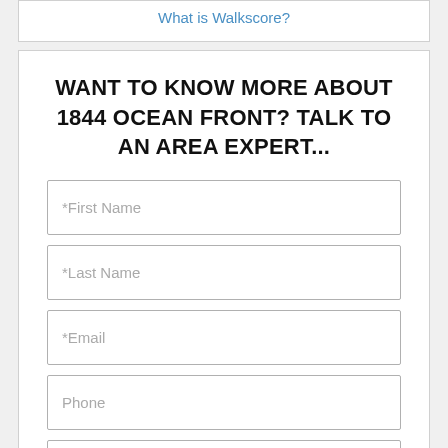What is Walkscore?
WANT TO KNOW MORE ABOUT 1844 OCEAN FRONT? TALK TO AN AREA EXPERT...
*First Name
*Last Name
*Email
Phone